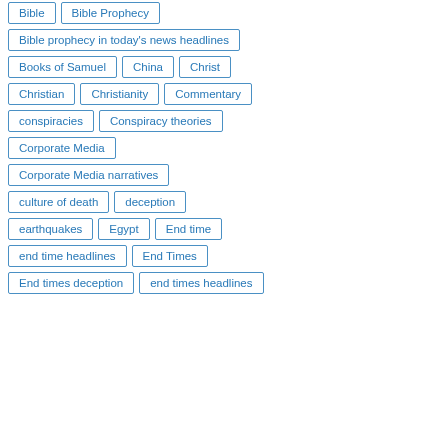Bible
Bible Prophecy
Bible prophecy in today's news headlines
Books of Samuel
China
Christ
Christian
Christianity
Commentary
conspiracies
Conspiracy theories
Corporate Media
Corporate Media narratives
culture of death
deception
earthquakes
Egypt
End time
end time headlines
End Times
End times deception
end times headlines